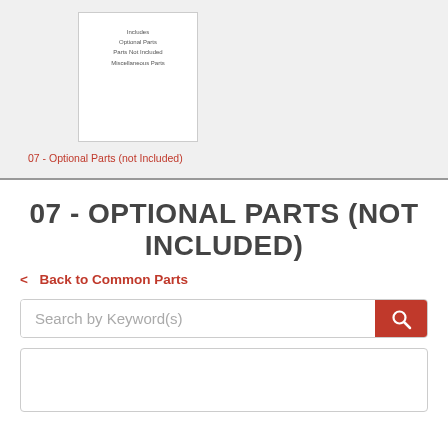[Figure (screenshot): Thumbnail preview of a parts document page showing text: Includes, Optional Parts, Parts Not Included, Miscellaneous Parts]
07 - Optional Parts (not Included)
07 - OPTIONAL PARTS (NOT INCLUDED)
< Back to Common Parts
[Figure (other): Search bar with placeholder text 'Search by Keyword(s)' and a red search button with magnifying glass icon]
[Figure (other): Empty white content box with border]